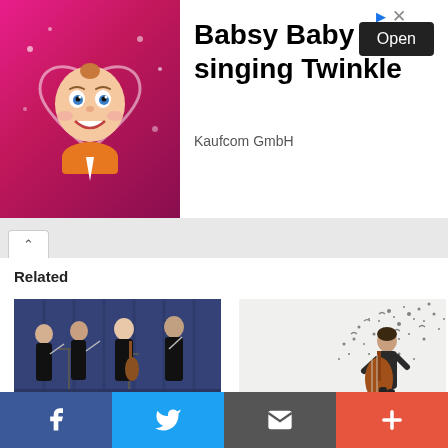[Figure (other): Advertisement banner for 'Babsy Baby singing Twinkle' by Kaufcom GmbH, featuring a cartoon baby on a pink background with an 'Open' button.]
Related
[Figure (photo): Photo of four young musicians in formal black attire performing with string instruments on a stage with blue curtain backdrop.]
Juliette, Zachary, Kaylee and Luke: Four Homeschool Graduates in the University of Mary Washington String Quartet
June 1, 2016
In "Homeschooling Teen Profile"
[Figure (photo): Photo of a cellist standing against a white background with scattered dark particles/notes dispersing around them.]
Wesley Skinner: Homeschooled Cellist
March 3, 2020
In "Homeschooling Teen Profile"